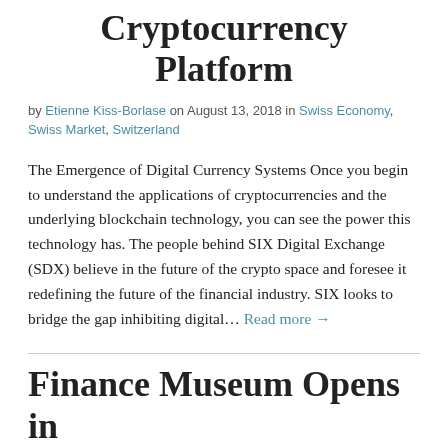Cryptocurrency Platform
by Etienne Kiss-Borlase on August 13, 2018 in Swiss Economy, Swiss Market, Switzerland
The Emergence of Digital Currency Systems Once you begin to understand the applications of cryptocurrencies and the underlying blockchain technology, you can see the power this technology has. The people behind SIX Digital Exchange (SDX) believe in the future of the crypto space and foresee it redefining the future of the financial industry. SIX looks to bridge the gap inhibiting digital… Read more →
Finance Museum Opens in